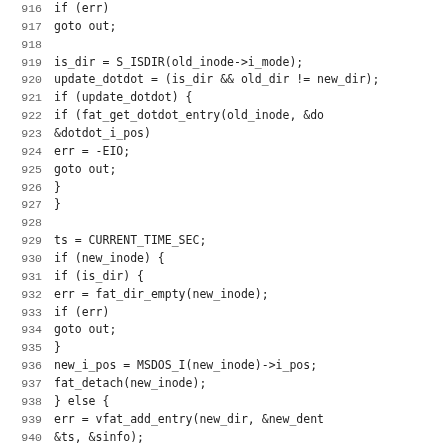[Figure (screenshot): Source code listing showing C code lines 916-947, featuring FAT filesystem rename logic with conditionals for directory handling, inode operations, and entry updates.]